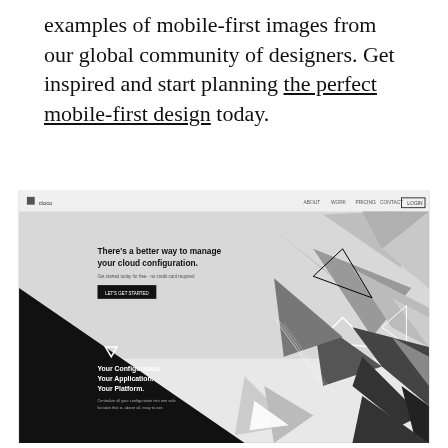examples of mobile-first images from our global community of designers. Get inspired and start planning the perfect mobile-first design today.
[Figure (screenshot): Screenshot of a website called 'cloco' featuring a dark geometric design with triangular shapes. The hero section shows bold text 'There's a better way to manage your cloud configuration.' with a CTA button. Below is a darker section with text 'Your Configuration. Your Application. Your Platform.' with descriptive subtext.]